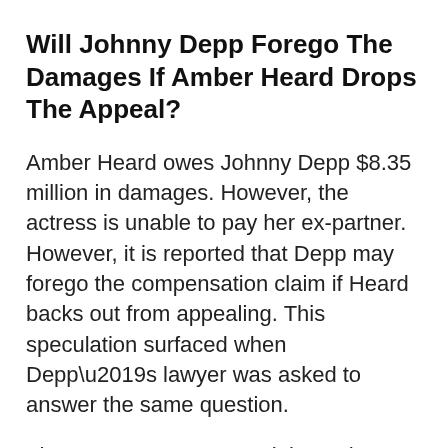Will Johnny Depp Forego The Damages If Amber Heard Drops The Appeal?
Amber Heard owes Johnny Depp $8.35 million in damages. However, the actress is unable to pay her ex-partner. However, it is reported that Depp may forego the compensation claim if Heard backs out from appealing. This speculation surfaced when Depp’s lawyer was asked to answer the same question.
The attorney never stated that Johnny would let go of the compensation claims. However, he did mention that the case was not about money for Depp. He filed the suit to restore his reputation and show his side of the